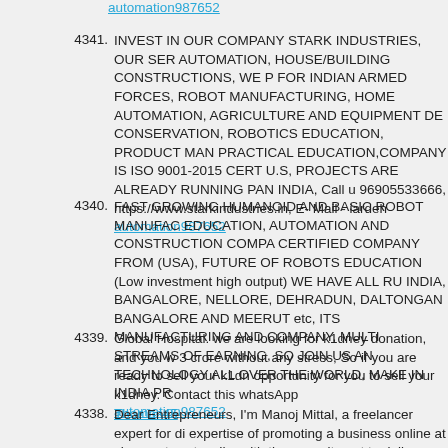automation987652 (link at top)
4341. INVEST IN OUR COMPANY STARK INDUSTRIES, OUR SERVICES AUTOMATION, HOUSE/BUILDING CONSTRUCTIONS, WE PROVIDE FOR INDIAN ARMED FORCES, ROBOT MANUFACTURING, HOME AUTOMATION, AGRICULTURE AND EQUIPMENT DEVELOPMENT, CONSERVATION, ROBOTICS EDUCATION, PRODUCT MANUFACTURING, PRACTICAL EDUCATION,COMPANY IS ISO 9001-2015 CERTIFIED FROM U.S, PROJECTS ARE ALREADY RUNNING PAN INDIA, Call us 96905533666, https://www.starkindustries.in, E- Mail - iardeh automation987652
4340. FAST GROWING HUMANOID AND BASIC ROBOT MANUFACTURING, EDUCATION, AUTOMATION AND CONSTRUCTION COMPANY, ISO CERTIFIED COMPANY FROM (USA), FUTURE OF ROBOTS AND EDUCATION (Low investment high output) WE HAVE ALL RUNNING IN INDIA, BANGALORE, NELLORE, DEHRADUN, DALTONGANJ, BANGALORE AND MEERUT etc, ITS MANUFACTURING AND MNC COMPANY, MULTI STREAMS OF EARNING, SO JOIN US AND SPREAD TECHNOLOGY ALL OVER THE WORLD, MAKE IN INDIA PROJECT automation987652
4339. Global Hospital. we are looking for k1dney donation, and you will get 3 crore without any stress, So if you are ready to sell your k1dney this opportunity for you to sell your k1dney. Contact this whatsApp Thomas45
4338. Dear Entrepreneurs, I'm Manoj Mittal, a freelancer expert for digital expertise of promoting a business online at cheapest cost as I'm here with the commitment to deliver my 100% to get the work done efficiently. anyone of you who wants to get online promotion done or lead generation specified audience or whiling to get website development or de